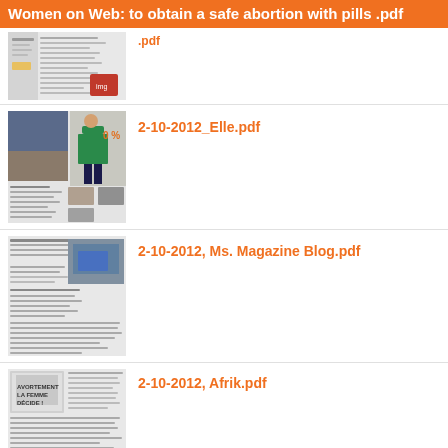Women on Web: to obtain a safe abortion with pills .pdf
[Figure (screenshot): Thumbnail of document page with text columns and small image]
.pdf
[Figure (screenshot): Thumbnail of Elle magazine page with woman in green dress]
2-10-2012_Elle.pdf
[Figure (screenshot): Thumbnail of Ms. Magazine Blog article page with protest image]
2-10-2012, Ms. Magazine Blog.pdf
[Figure (screenshot): Thumbnail of Afrik article page with abortion protest sign]
2-10-2012, Afrik.pdf